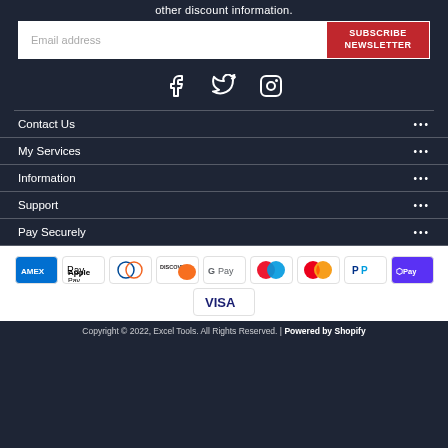other discount information.
Email address | SUBSCRIBE NEWSLETTER
[Figure (illustration): Social media icons: Facebook, Twitter, Instagram in white on dark background]
Contact Us ...
My Services ...
Information ...
Support ...
Pay Securely ...
[Figure (illustration): Payment method icons: American Express, Apple Pay, Diners Club, Discover, Google Pay, Maestro, Mastercard, PayPal, Shop Pay, Visa]
Copyright © 2022, Excel Tools. All Rights Reserved. | Powered by Shopify